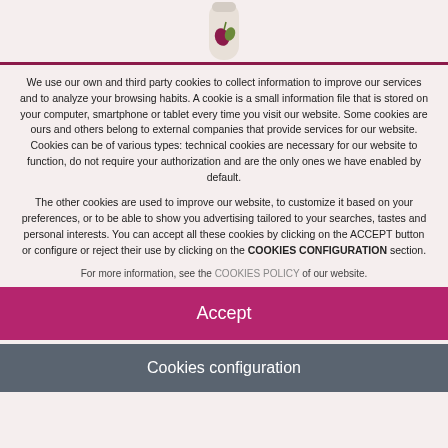[Figure (photo): Top portion of a product bottle with a logo visible, cropped at the top of the page above a dark pink/maroon horizontal rule.]
We use our own and third party cookies to collect information to improve our services and to analyze your browsing habits. A cookie is a small information file that is stored on your computer, smartphone or tablet every time you visit our website. Some cookies are ours and others belong to external companies that provide services for our website. Cookies can be of various types: technical cookies are necessary for our website to function, do not require your authorization and are the only ones we have enabled by default.
The other cookies are used to improve our website, to customize it based on your preferences, or to be able to show you advertising tailored to your searches, tastes and personal interests. You can accept all these cookies by clicking on the ACCEPT button or configure or reject their use by clicking on the COOKIES CONFIGURATION section.
For more information, see the COOKIES POLICY of our website.
Accept
Cookies configuration